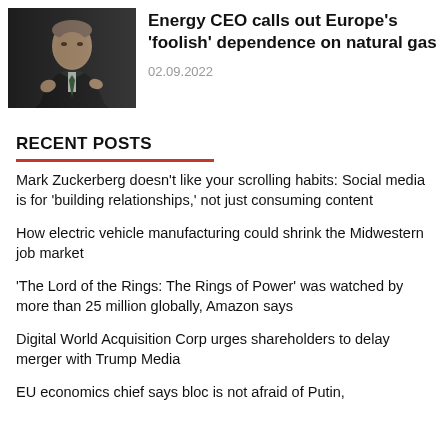[Figure (photo): Man in dark suit gesturing with hands, speaking, dark background]
Energy CEO calls out Europe's 'foolish' dependence on natural gas
02.09.2022
RECENT POSTS
Mark Zuckerberg doesn't like your scrolling habits: Social media is for 'building relationships,' not just consuming content
How electric vehicle manufacturing could shrink the Midwestern job market
'The Lord of the Rings: The Rings of Power' was watched by more than 25 million globally, Amazon says
Digital World Acquisition Corp urges shareholders to delay merger with Trump Media
EU economics chief says bloc is not afraid of Putin,